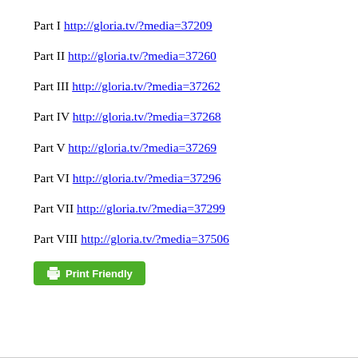Part I http://gloria.tv/?media=37209
Part II http://gloria.tv/?media=37260
Part III http://gloria.tv/?media=37262
Part IV http://gloria.tv/?media=37268
Part V http://gloria.tv/?media=37269
Part VI http://gloria.tv/?media=37296
Part VII http://gloria.tv/?media=37299
Part VIII http://gloria.tv/?media=37506